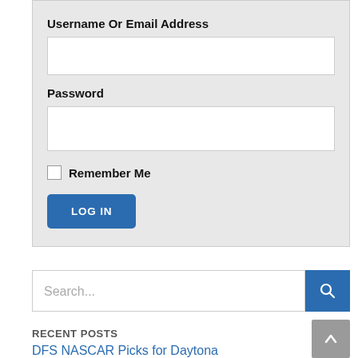Username Or Email Address
[Figure (screenshot): Empty text input field for username or email address]
Password
[Figure (screenshot): Empty text input field for password]
Remember Me
LOG IN
Search...
RECENT POSTS
DFS NASCAR Picks for Daytona